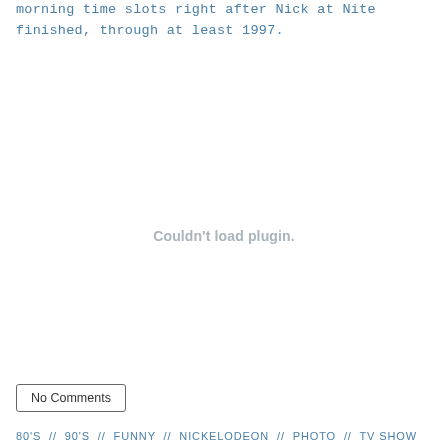morning time slots right after Nick at Nite finished, through at least 1997.
[Figure (other): Embedded plugin area showing 'Couldn't load plugin.' error message in gray text]
No Comments
80'S // 90'S // FUNNY // NICKELODEON // PHOTO // TV SHOW